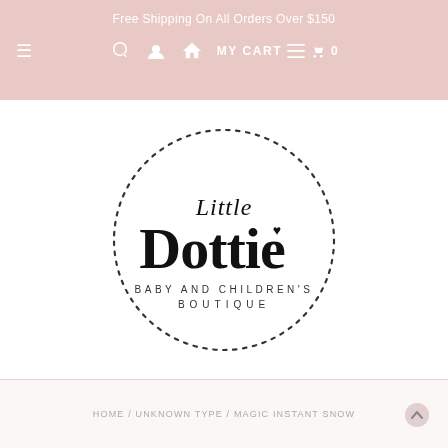Free Shipping On All Orders Over $150
[Figure (logo): Little Dottie Baby and Children's Boutique circular dotted logo]
HOME / UNKNOWN TYPE / MAGIC INSTANT SNOW